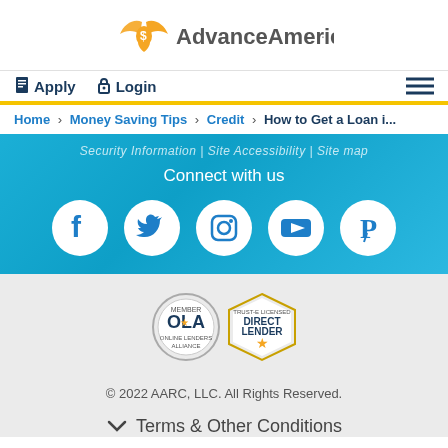[Figure (logo): Advance America logo with orange star/eagle icon and gray text]
Apply  Login
Home > Money Saving Tips > Credit > How to Get a Loan i...
Security Information | Site Accessibility | Site map
Connect with us
[Figure (infographic): Social media icons: Facebook, Twitter, Instagram, YouTube, Pinterest on blue gradient background]
[Figure (logo): OLA and Direct Lender certification badges]
© 2022 AARC, LLC. All Rights Reserved.
Terms & Other Conditions